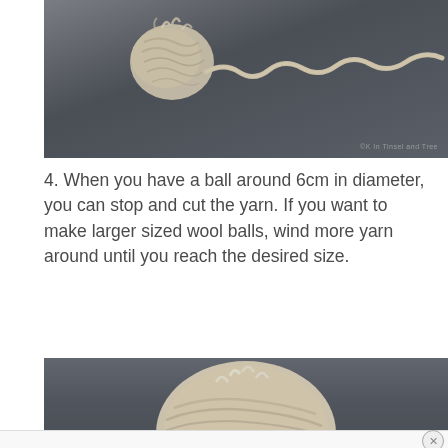[Figure (photo): Close-up photo of a small wool yarn ball in progress on a dark gray surface, with a wavy yarn tail extending to the right. Watermark text partially visible at bottom right.]
4. When you have a ball around 6cm in diameter, you can stop and cut the yarn. If you want to make larger sized wool balls, wind more yarn around until you reach the desired size.
[Figure (photo): Photo of a completed cream/beige wool yarn ball on a dark gray background, partially cropped at bottom. An advertisement bar overlays the very bottom of the page with a close (X) button.]